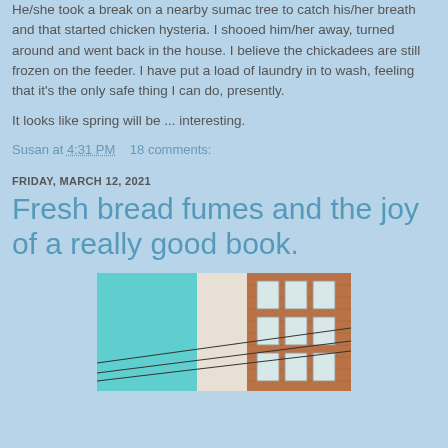He/she took a break on a nearby sumac tree to catch his/her breath and that started chicken hysteria.  I shooed him/her away, turned around and went back in the house.  I believe the chickadees are still frozen on the feeder.  I have put a load of laundry in to wash, feeling that it's the only safe thing I can do, presently.
It looks like spring will be ... interesting.
Susan at 4:31 PM    18 comments:
FRIDAY, MARCH 12, 2021
Fresh bread fumes and the joy of a really good book.
[Figure (photo): Photo of a brick building against a teal/cyan sky with utility wires in the foreground]